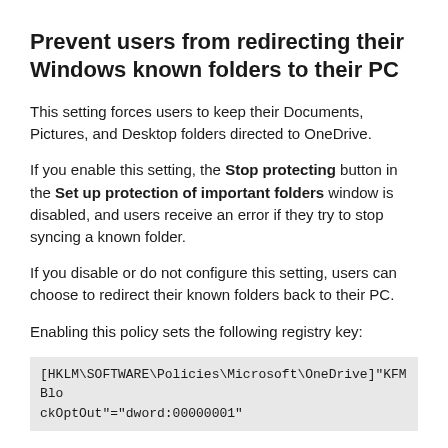Prevent users from redirecting their Windows known folders to their PC
This setting forces users to keep their Documents, Pictures, and Desktop folders directed to OneDrive.
If you enable this setting, the Stop protecting button in the Set up protection of important folders window is disabled, and users receive an error if they try to stop syncing a known folder.
If you disable or do not configure this setting, users can choose to redirect their known folders back to their PC.
Enabling this policy sets the following registry key:
[HKLM\SOFTWARE\Policies\Microsoft\OneDrive]"KFMBlockOptOut"="dword:00000001"